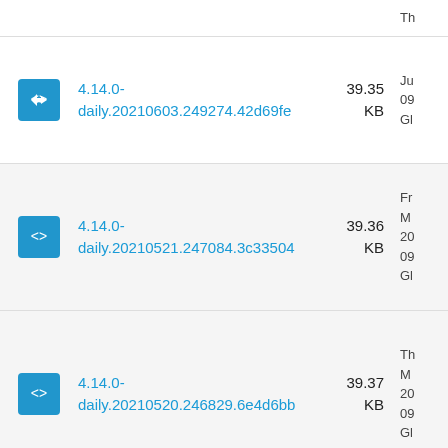4.14.0-daily.20210603.249274.42d69fe  39.35 KB  Th... Ju... 09... Gl...
4.14.0-daily.20210521.247084.3c33504  39.36 KB  Fr... M... 20... 09... Gl...
4.14.0-daily.20210520.246829.6e4d6bb  39.37 KB  Th... M... 20... 09... Gl...
4.14.0-  39.36  W... M...